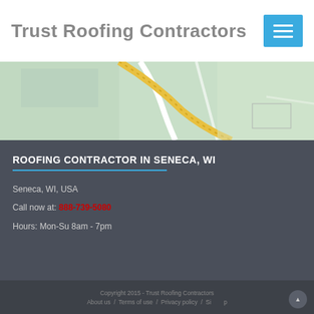Trust Roofing Contractors
[Figure (map): Map showing road/highway view of Seneca, WI area with green terrain and yellow road]
ROOFING CONTRACTOR IN SENECA, WI
Seneca, WI, USA
Call now at: 888-739-5080
Hours: Mon-Su 8am - 7pm
Copyright 2015 - Trust Roofing Contractors  About us / Terms of use / Privacy policy / Sitemap